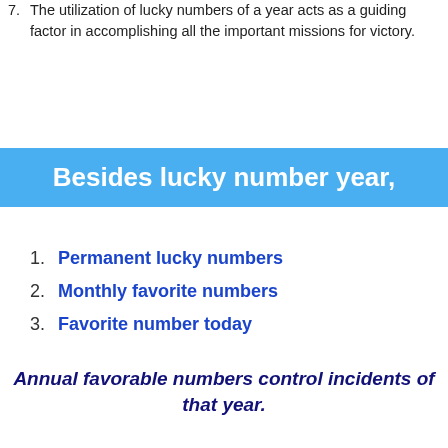7. The utilization of lucky numbers of a year acts as a guiding factor in accomplishing all the important missions for victory.
Besides lucky number year,
1. Permanent lucky numbers
2. Monthly favorite numbers
3. Favorite number today
Annual favorable numbers control incidents of that year.